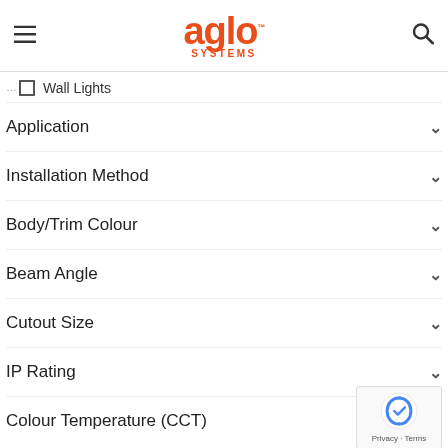aglo SYSTEMS
Wall Lights
Application
Installation Method
Body/Trim Colour
Beam Angle
Cutout Size
IP Rating
Colour Temperature (CCT)